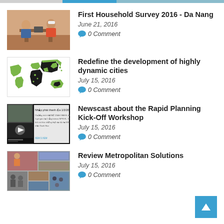navigation bar
First Household Survey 2016 - Da Nang
June 21, 2016
0 Comment
[Figure (photo): Two people sitting across from each other at a table, one taking a survey]
Redefine the development of highly dynamic cities
July 15, 2016
0 Comment
[Figure (map): World map with countries highlighted in green and black]
Newscast about the Rapid Planning Kick-Off Workshop
July 15, 2016
0 Comment
[Figure (screenshot): Video thumbnail showing a Vietnamese newscast about rapid planning workshop]
Review Metropolitan Solutions
July 15, 2016
0 Comment
[Figure (photo): Collage of photos from a metropolitan solutions event/exhibition]